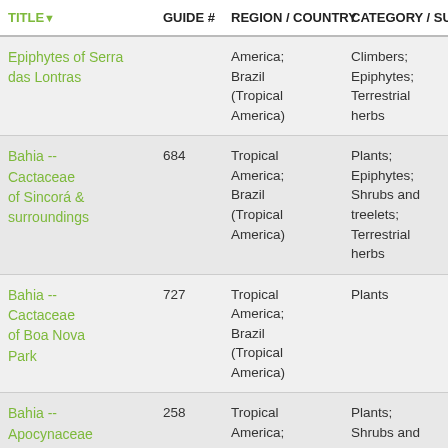| TITLE | GUIDE # | REGION / COUNTRY | CATEGORY / SU |
| --- | --- | --- | --- |
| Epiphytes of Serra das Lontras |  | America; Brazil (Tropical America) | Climbers; Epiphytes; Terrestrial herbs |
| Bahia -- Cactaceae of Sincorá & surroundings | 684 | Tropical America; Brazil (Tropical America) | Plants; Epiphytes; Shrubs and treelets; Terrestrial herbs |
| Bahia -- Cactaceae of Boa Nova Park | 727 | Tropical America; Brazil (Tropical America) | Plants |
| Bahia -- Apocynaceae | 258 | Tropical America; | Plants; Shrubs and |